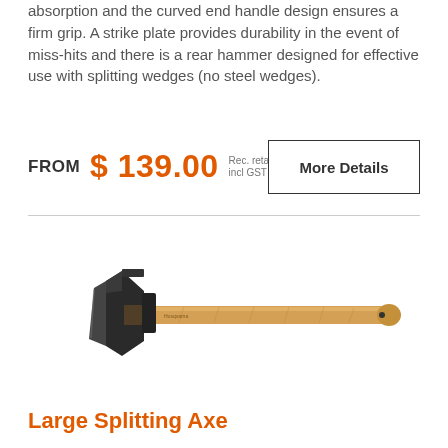absorption and the curved end handle design ensures a firm grip. A strike plate provides durability in the event of miss-hits and there is a rear hammer designed for effective use with splitting wedges (no steel wedges).
FROM $139.00 Rec. retail price incl GST
More Details
[Figure (photo): Husqvarna splitting axe with dark metal head and long wooden handle]
Large Splitting Axe